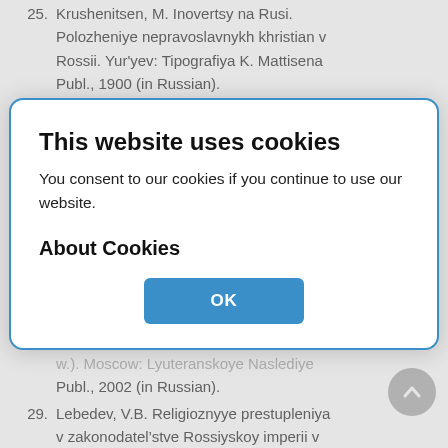25. Krushenitsen, M. Inovertsy na Rusi. Polozheniye nepravoslavnykh khristian v Rossii. Yur'yev: Tipografiya K. Mattisena Publ., 1900 (in Russian).
26. Kuznetsov, N.D. “Upravleniye delami inostrannykh ispovedaniy v Rossii v yego istoricheskom razvitii.” Vremennik Demidovskogo yuridicheskogo litseya, here (1026): 220-225 (in Russian).
27. Kunictsyn, I.A. Pravovoy status religioznykh ob'yedineniy v Rossii. Moscow: Pravoslavnoye delo Publ., 2000 (in Russian).
28. Kurilo, O.V. Lyuterane v Rossii (XVI-XX w.). Moscow: Lyuteranskoye Naslediye Publ., 2002 (in Russian).
29. Lebedev, V.B. Religioznyye prestupleniya v zakonodatel'stve Rossiyskoy imperii v XVIII - nachalo XX w. Pskov: Pskovskiy...
This website uses cookies
You consent to our cookies if you continue to use our website.
About Cookies
OK